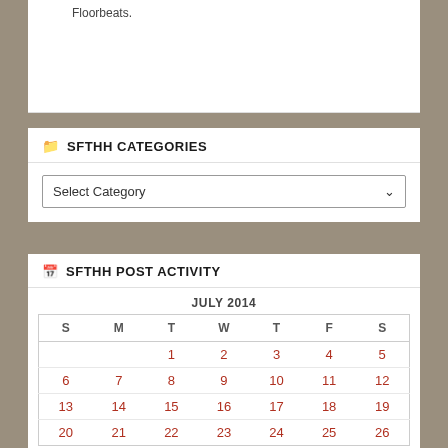Floorbeats.
SFTHH CATEGORIES
Select Category
SFTHH POST ACTIVITY
| S | M | T | W | T | F | S |
| --- | --- | --- | --- | --- | --- | --- |
|  |  | 1 | 2 | 3 | 4 | 5 |
| 6 | 7 | 8 | 9 | 10 | 11 | 12 |
| 13 | 14 | 15 | 16 | 17 | 18 | 19 |
| 20 | 21 | 22 | 23 | 24 | 25 | 26 |